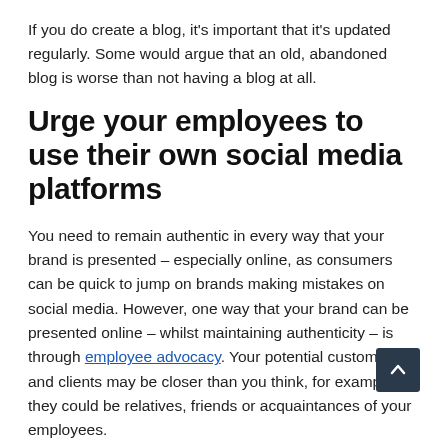If you do create a blog, it's important that it's updated regularly. Some would argue that an old, abandoned blog is worse than not having a blog at all.
Urge your employees to use their own social media platforms
You need to remain authentic in every way that your brand is presented – especially online, as consumers can be quick to jump on brands making mistakes on social media. However, one way that your brand can be presented online – whilst maintaining authenticity – is through employee advocacy. Your potential customers and clients may be closer than you think, for example, they could be relatives, friends or acquaintances of your employees.
Each social media platform has the potential to reach